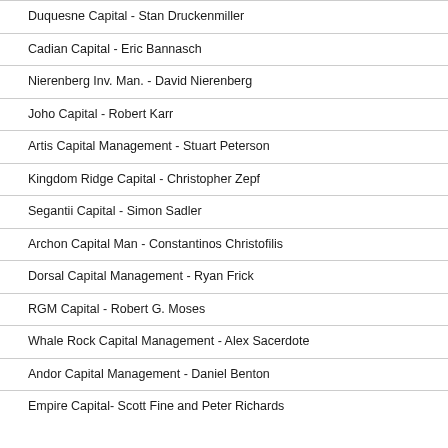Duquesne Capital - Stan Druckenmiller
Cadian Capital - Eric Bannasch
Nierenberg Inv. Man. - David Nierenberg
Joho Capital - Robert Karr
Artis Capital Management - Stuart Peterson
Kingdom Ridge Capital - Christopher Zepf
Segantii Capital - Simon Sadler
Archon Capital Man - Constantinos Christofilis
Dorsal Capital Management - Ryan Frick
RGM Capital - Robert G. Moses
Whale Rock Capital Management - Alex Sacerdote
Andor Capital Management - Daniel Benton
Empire Capital- Scott Fine and Peter Richards